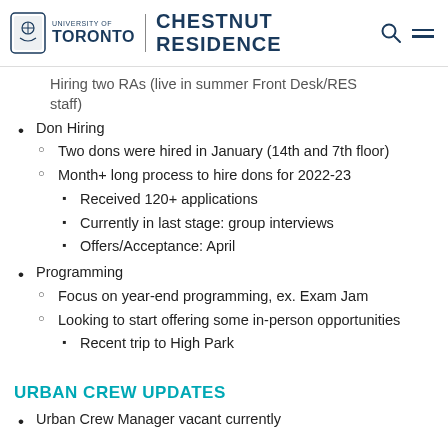University of Toronto | CHESTNUT RESIDENCE
Hiring two RAs (live in summer Front Desk/RES staff)
Don Hiring
Two dons were hired in January (14th and 7th floor)
Month+ long process to hire dons for 2022-23
Received 120+ applications
Currently in last stage: group interviews
Offers/Acceptance: April
Programming
Focus on year-end programming, ex. Exam Jam
Looking to start offering some in-person opportunities
Recent trip to High Park
URBAN CREW UPDATES
Urban Crew Manager vacant currently